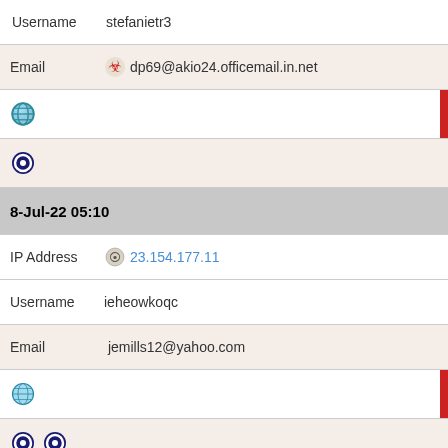Username   stefanietr3
Email  dp69@akio24.officemail.in.net
[Figure (screenshot): Globe icon with red bar indicator]
[Figure (screenshot): Opera browser icon]
8-Jul-22 05:10
IP Address   23.154.177.11
Username   ieheowkoqc
Email  jemills12@yahoo.com
[Figure (screenshot): Globe icon with red bar indicator]
[Figure (screenshot): Two Opera browser icons]
7-Jul-22 18:54
IP Address   23.154.177.11
Username   maggiekr4
Email  earlineyn1@isamu13.officemail.in.net
[Figure (screenshot): Globe icon with red bar indicator]
[Figure (screenshot): Opera browser icon]
7-Jul-22 12:46